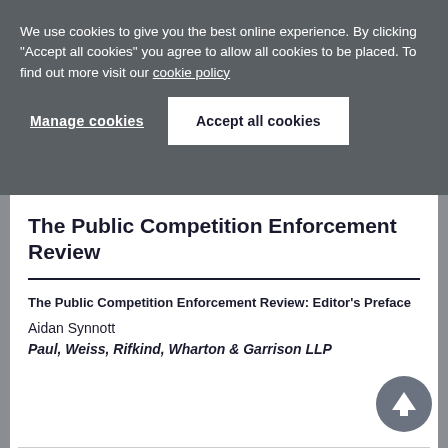We use cookies to give you the best online experience. By clicking "Accept all cookies" you agree to allow all cookies to be placed. To find out more visit our cookie policy
Manage cookies
Accept all cookies
The Public Competition Enforcement Review
The Public Competition Enforcement Review: Editor's Preface
Aidan Synnott
Paul, Weiss, Rifkind, Wharton & Garrison LLP